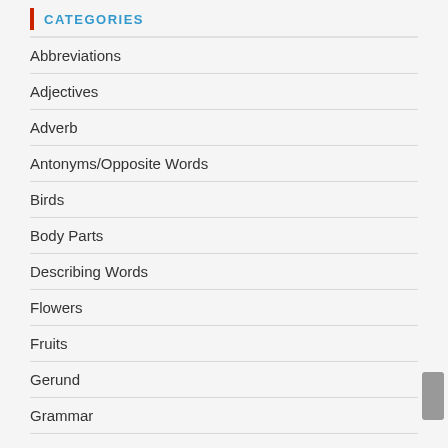CATEGORIES
Abbreviations
Adjectives
Adverb
Antonyms/Opposite Words
Birds
Body Parts
Describing Words
Flowers
Fruits
Gerund
Grammar